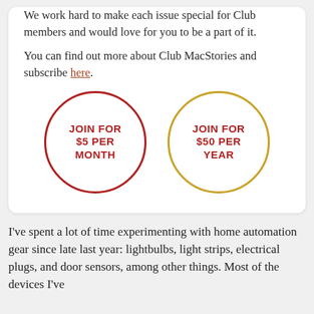We work hard to make each issue special for Club members and would love for you to be a part of it.
You can find out more about Club MacStories and subscribe here.
[Figure (infographic): Two circular buttons side by side. Left circle has red border with red bold text: JOIN FOR $5 PER MONTH. Right circle has gold/yellow border with red bold text: JOIN FOR $50 PER YEAR.]
I've spent a lot of time experimenting with home automation gear since late last year: lightbulbs, light strips, electrical plugs, and door sensors, among other things. Most of the devices I've